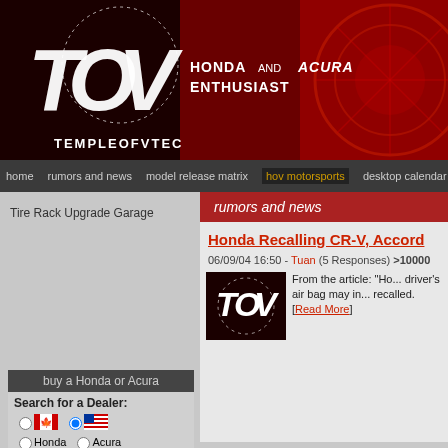[Figure (logo): Temple of VTEC logo with stylized TOV letters and circular dotted border on dark red background]
HONDA AND ACURA ENTHUSIAST
home | rumors and news | model release matrix | hov motorsports | desktop calendar
Tire Rack Upgrade Garage
rumors and news
buy a Honda or Acura
Search for a Dealer:
Honda  Acura
ZIP
Honda Recalling CR-V, Accord
06/09/04 16:50 - Tuan (5 Responses) >10000
From the article: "Ho... driver's air bag may in... recalled. [Read More]